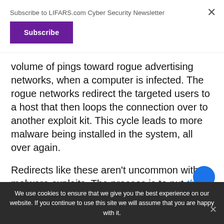Subscribe to LIFARS.com Cyber Security Newsletter
volume of pings toward rogue advertising networks, when a computer is infected. The rogue networks redirect the targeted users to a host that then loops the connection over to another exploit kit. This cycle leads to more malware being installed in the system, all over again.
Redirects like these aren't uncommon with malware exploits. The process is to put the
We use cookies to ensure that we give you the best experience on our website. If you continue to use this site we will assume that you are happy with it.